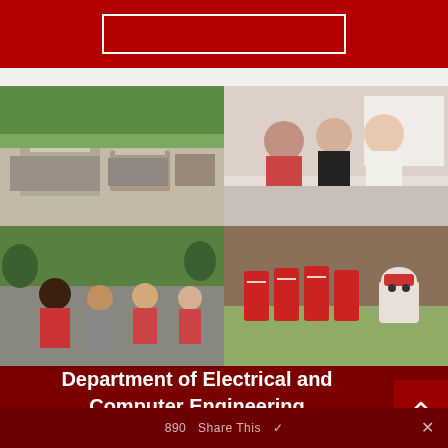[Figure (photo): Red banner/bar with white rectangular outline at top of page]
[Figure (photo): Four-photo grid: aerial view of campus buildings (top-left), students working in classroom with whiteboard (top-right), group of students standing outdoors (bottom-left), red product cans and mascot figure on brick plaza (bottom-right)]
Department of Electrical and Computer Engineering
890 Share This ✓ ×